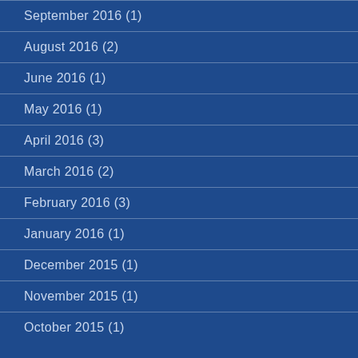September 2016 (1)
August 2016 (2)
June 2016 (1)
May 2016 (1)
April 2016 (3)
March 2016 (2)
February 2016 (3)
January 2016 (1)
December 2015 (1)
November 2015 (1)
October 2015 (1)